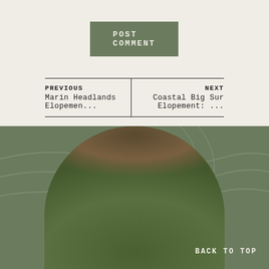POST COMMENT
PREVIOUS
Marin Headlands Elopemen...
NEXT
Coastal Big Sur Elopement: ...
[Figure (photo): Woman smiling and holding a camera, standing in a lush green forest with ferns and tree roots in background. Photo displayed in an arch/semicircle crop on a dark green background.]
BACK TO TOP